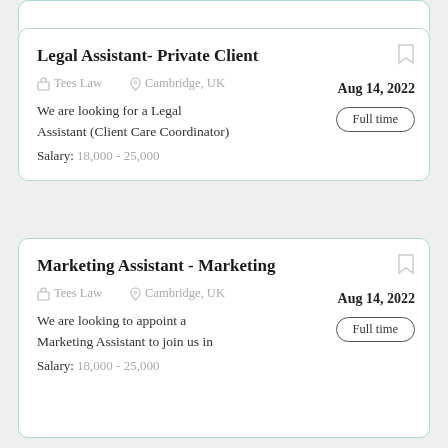Legal Assistant- Private Client
Tees Law   Cambridge, UK   Aug 14, 2022   Full time
We are looking for a Legal Assistant (Client Care Coordinator)
Salary: 18,000 - 25,000
Marketing Assistant - Marketing
Tees Law   Cambridge, UK   Aug 14, 2022   Full time
We are looking to appoint a Marketing Assistant to join us in
Salary: 18,000 - 25,000